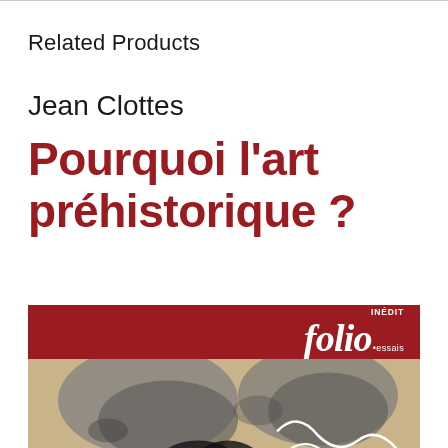Related Products
[Figure (illustration): Book cover of 'Pourquoi l'art préhistorique?' by Jean Clottes, published by Folio Essais (Inédit). The cover shows the author name in black, the title in large bold dark red text, and below a red banner with 'INÉDIT / folio·essais' logo, followed by cave art imagery in muted tones of grey, beige, black and red with white line drawings.]